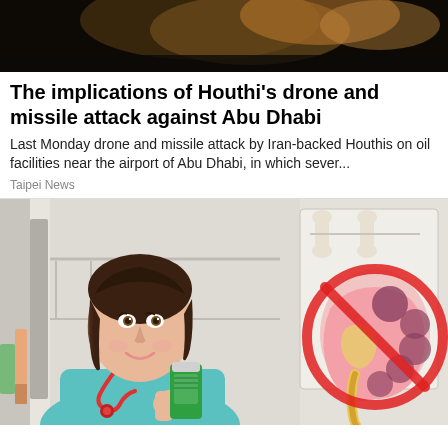[Figure (photo): Dark blurry photo background at top of page, showing dark amber/orange tones]
The implications of Houthi's drone and missile attack against Abu Dhabi
Last Monday drone and missile attack by Iran-backed Houthis on oil facilities near the airport of Abu Dhabi, in which sever...
Taipei News
[Figure (illustration): Illustration of a female doctor in teal scrubs holding a green supplement bottle, with a medical diagram showing a kidney with a red prohibition sign overlaid, and bone anatomy in the background]